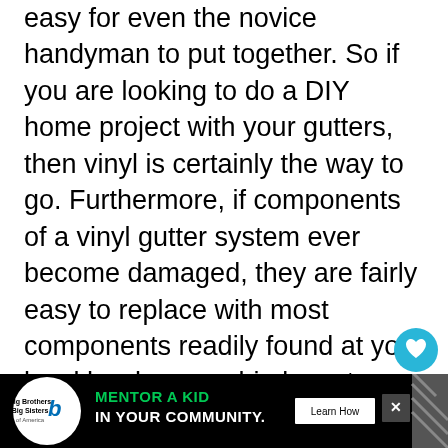easy for even the novice handyman to put together. So if you are looking to do a DIY home project with your gutters, then vinyl is certainly the way to go. Furthermore, if components of a vinyl gutter system ever become damaged, they are fairly easy to replace with most components readily found at your local hardware or big box store.
[Figure (screenshot): Circular heart/favorite button (teal/cyan background with white heart icon) and circular share button (white background with share icon and plus sign)]
[Figure (screenshot): Big Brothers Big Sisters advertisement banner: black background with logo, green 'MENTOR A KID' and white 'IN YOUR COMMUNITY.' text, Learn How button, and menu/weather icons]